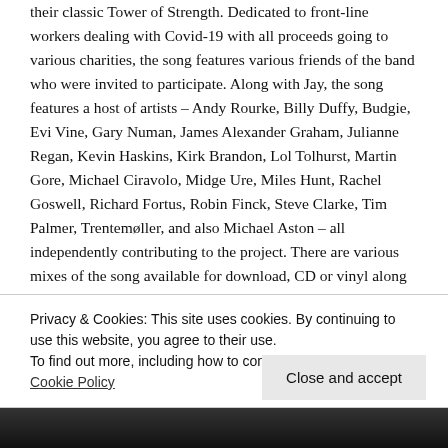their classic Tower of Strength. Dedicated to front-line workers dealing with Covid-19 with all proceeds going to various charities, the song features various friends of the band who were invited to participate. Along with Jay, the song features a host of artists – Andy Rourke, Billy Duffy, Budgie, Evi Vine, Gary Numan, James Alexander Graham, Julianne Regan, Kevin Haskins, Kirk Brandon, Lol Tolhurst, Martin Gore, Michael Ciravolo, Midge Ure, Miles Hunt, Rachel Goswell, Richard Fortus, Robin Finck, Steve Clarke, Tim Palmer, Trentemøller, and also Michael Aston – all independently contributing to the project. There are various mixes of the song available for download, CD or vinyl along with t-shirts.
Privacy & Cookies: This site uses cookies. By continuing to use this website, you agree to their use.
To find out more, including how to control cookies, see here: Cookie Policy
[Figure (photo): Dark image strip at the bottom of the page]